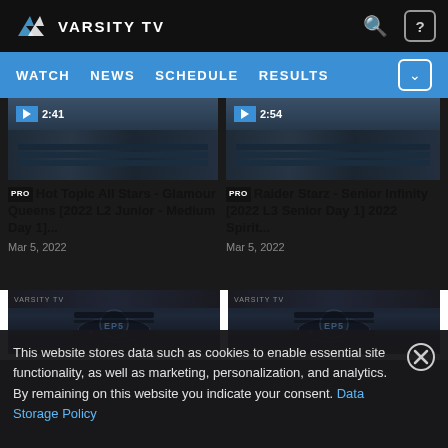VARSITY TV — WATCH NEWS SCHEDULE RESULTS
[Figure (screenshot): Video thumbnail showing table scene, duration 2:41]
PRO Hot Topic All Stars - Glamour Queens [2022 L2 Junior - Medium Day 1]...
Mar 5, 2022
[Figure (screenshot): Video thumbnail showing table scene, duration 2:54]
PRO Raider Starz - Senior Infinity [2022 L3 Senior Day 1] 2022 Spirit...
Mar 5, 2022
[Figure (screenshot): Bottom video thumbnail with event logo]
[Figure (screenshot): Bottom video thumbnail with event logo]
This website stores data such as cookies to enable essential site functionality, as well as marketing, personalization, and analytics. By remaining on this website you indicate your consent. Data Storage Policy